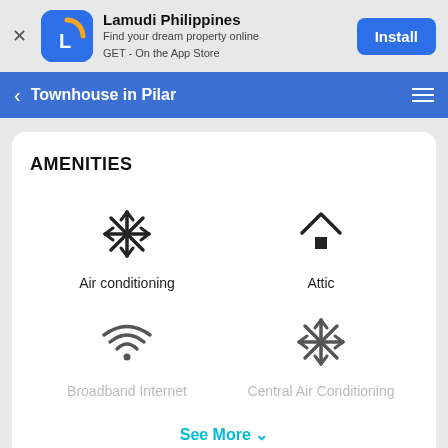[Figure (screenshot): App install banner for Lamudi Philippines with logo icon, app name, tagline, and Install button]
Townhouse in Pilar
AMENITIES
Air conditioning
Attic
Broadband Internet
Central Air Conditioning
See More